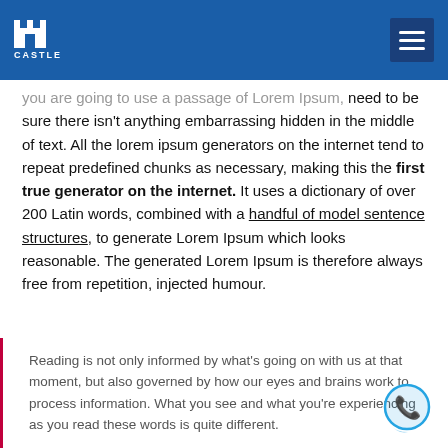CASTLE
you are going to use a passage of Lorem Ipsum, need to be sure there isn't anything embarrassing hidden in the middle of text. All the lorem ipsum generators on the internet tend to repeat predefined chunks as necessary, making this the first true generator on the internet. It uses a dictionary of over 200 Latin words, combined with a handful of model sentence structures, to generate Lorem Ipsum which looks reasonable. The generated Lorem Ipsum is therefore always free from repetition, injected humour.
Reading is not only informed by what's going on with us at that moment, but also governed by how our eyes and brains work to process information. What you see and what you're experiencing as you read these words is quite different.